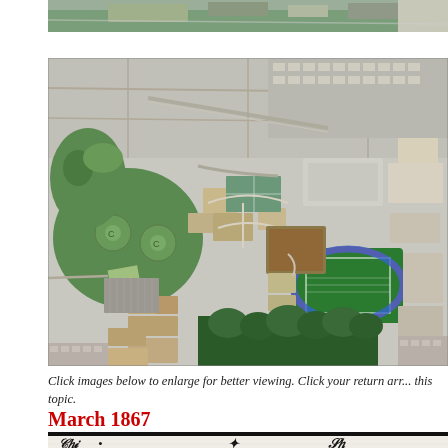[Figure (photo): Partial aerial view of a university campus, top strip cropped]
[Figure (photo): Aerial/satellite view of a university campus showing buildings, athletic fields including a blue track and football field, green spaces, parking lots, and surrounding suburban streets]
Click images below to enlarge for better viewing. Click your return arr... this topic.
March 1867
[Figure (photo): Cropped masthead of a historical newspaper from March 1867 showing decorative script lettering]